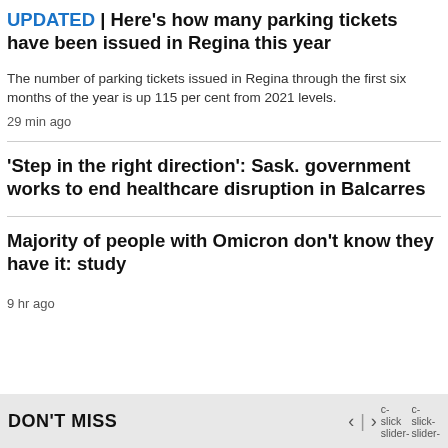UPDATED | Here's how many parking tickets have been issued in Regina this year
The number of parking tickets issued in Regina through the first six months of the year is up 115 per cent from 2021 levels.
29 min ago
'Step in the right direction': Sask. government works to end healthcare disruption in Balcarres
Majority of people with Omicron don't know they have it: study
9 hr ago
DON'T MISS